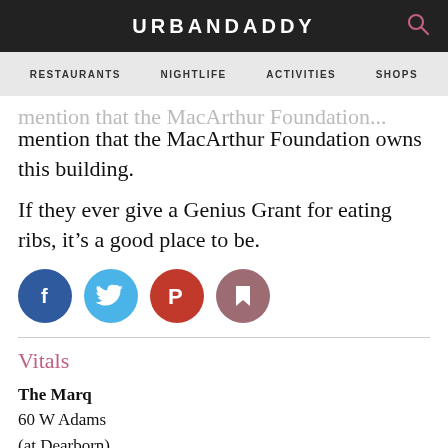URBANDADDY
RESTAURANTS  NIGHTLIFE  ACTIVITIES  SHOPS
mention that the MacArthur Foundation owns this building.
If they ever give a Genius Grant for eating ribs, it’s a good place to be.
[Figure (other): Social sharing icons: Facebook (blue circle with f), Twitter (light blue circle with bird), Pinterest (red circle with P), Bookmark (mauve circle with bookmark icon)]
Vitals
The Marq
60 W Adams
(at Dearborn)